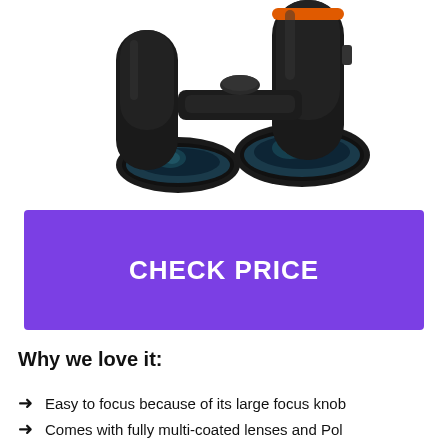[Figure (photo): Close-up photo of black binoculars with orange accent ring on top, large front objective lenses visible, on white background]
CHECK PRICE
Why we love it:
Easy to focus because of its large focus knob
Comes with fully multi-coated lenses and Pol...